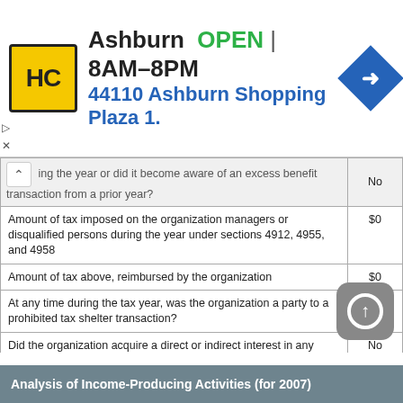[Figure (other): Ad banner for Ashburn HC store showing logo, OPEN hours 8AM-8PM, address 44110 Ashburn Shopping Plaza 1., and navigation icon]
| Question | Answer |
| --- | --- |
| ...ing the year or did it become aware of an excess benefit transaction from a prior year? | No |
| Amount of tax imposed on the organization managers or disqualified persons during the year under sections 4912, 4955, and 4958 | $0 |
| Amount of tax above, reimbursed by the organization | $0 |
| At any time during the tax year, was the organization a party to a prohibited tax shelter transaction? | No |
| Did the organization acquire a direct or indirect interest in any applicable insurance contract? | No |
| Did the supporting organization, or a fund maintained by a sponsoring organization, have excess business holdings at any time during the year? | No |
| Number of employees employed in the pay period that includes March 12, 2006 | 11 |
Analysis of Income-Producing Activities (for 2007)